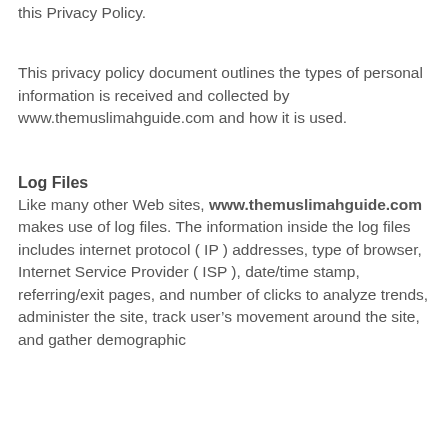this Privacy Policy.
This privacy policy document outlines the types of personal information is received and collected by www.themuslimahguide.com and how it is used.
Log Files
Like many other Web sites, www.themuslimahguide.com makes use of log files. The information inside the log files includes internet protocol ( IP ) addresses, type of browser, Internet Service Provider ( ISP ), date/time stamp, referring/exit pages, and number of clicks to analyze trends, administer the site, track user’s movement around the site, and gather demographic